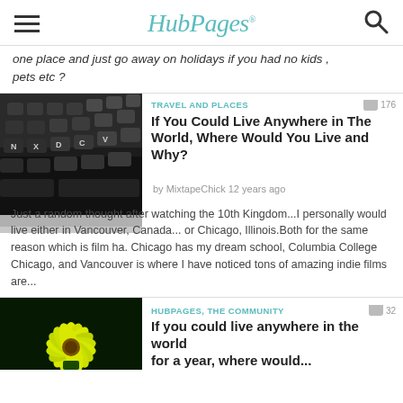HubPages
one place and just go away on holidays if you had no kids , pets etc ?
TRAVEL AND PLACES  176
If You Could Live Anywhere in The World, Where Would You Live and Why?
by MixtapeChick 12 years ago
Just a random thought after watching the 10th Kingdom...I personally would live either in Vancouver, Canada... or Chicago, Illinois.Both for the same reason which is film ha. Chicago has my dream school, Columbia College Chicago, and Vancouver is where I have noticed tons of amazing indie films are...
[Figure (photo): Close-up photo of a dark laptop keyboard with white key labels]
HUBPAGES, THE COMMUNITY  32
If you could live anywhere in the world for a year, where would...